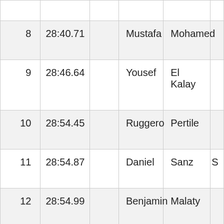| Rank | Time |  | First Name | Last Name |  |
| --- | --- | --- | --- | --- | --- |
| 8 | 28:40.71 |  | Mustafa | Mohamed |  |
| 9 | 28:46.64 |  | Yousef | El Kalay |  |
| 10 | 28:54.45 |  | Ruggero | Pertile |  |
| 11 | 28:54.87 |  | Daniel | Sanz | S |
| 12 | 28:54.99 |  | Benjamin | Malaty |  |
| 13 | 29:00.02 |  | Stephane | Lefrand |  |